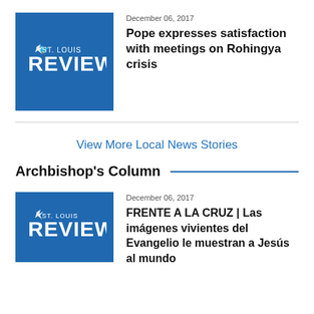[Figure (logo): St. Louis Review logo — blue square with white 'ST. LOUIS REVIEW' text and bird icon]
December 06, 2017
Pope expresses satisfaction with meetings on Rohingya crisis
View More Local News Stories
Archbishop's Column
[Figure (logo): St. Louis Review logo — blue square with white 'ST. LOUIS REVIEW' text and bird icon]
December 06, 2017
FRENTE A LA CRUZ | Las imágenes vivientes del Evangelio le muestran a Jesús al mundo